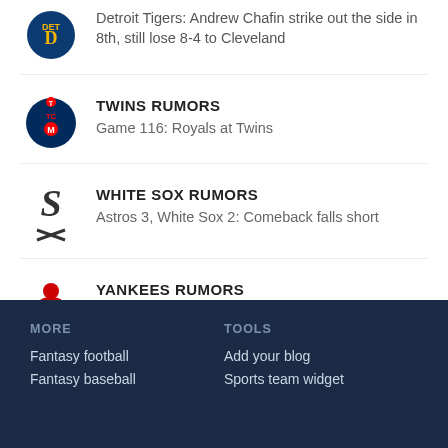Detroit Tigers: Andrew Chafin strike out the side in 8th, still lose 8-4 to Cleveland
TWINS RUMORS
Game 116: Royals at Twins
WHITE SOX RUMORS
Astros 3, White Sox 2: Comeback falls short
YANKEES RUMORS
Yankees 8, Rays 7: Josh Donaldson's signature moment
MORE
Fantasy football
Fantasy baseball

TOOLS
Add your blog
Sports team widget